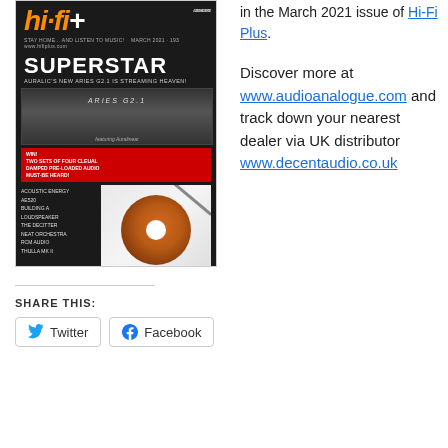[Figure (photo): Cover of Hi-Fi Plus magazine March 2021 issue featuring 'SUPERSTAR' headline about Auralic Aries G2.1 streaming device, with images of amplifier and turntable, VPI article mention, and various article listings.]
in the March 2021 issue of Hi-Fi Plus.
Discover more at www.audioanalogue.com and track down your nearest dealer via UK distributor www.decentaudio.co.uk
SHARE THIS:
Twitter
Facebook